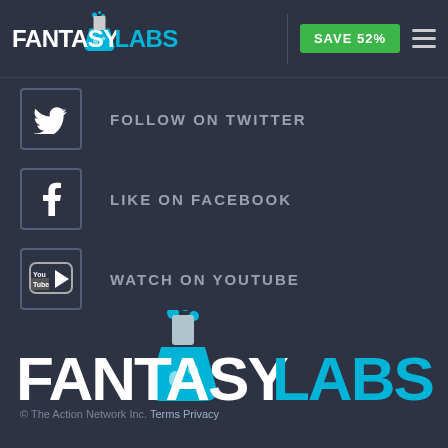[Figure (logo): FantasyLabs logo in header — white FANTASY + cyan LABS text with flask icon]
SAVE 52%
FOLLOW ON TWITTER
LIKE ON FACEBOOK
WATCH ON YOUTUBE
[Figure (logo): Large FantasyLabs logo — white FANTASY + cyan LABS text with large blue flask icon]
© The Action Network Inc. Terms Privacy